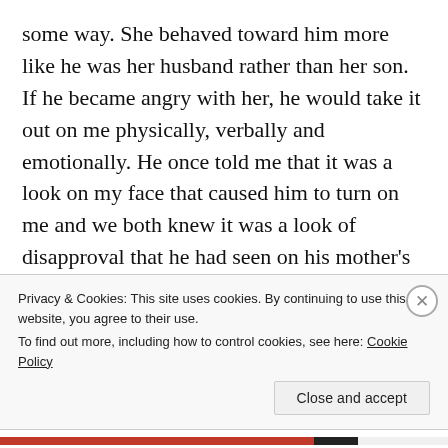some way. She behaved toward him more like he was her husband rather than her son. If he became angry with her, he would take it out on me physically, verbally and emotionally. He once told me that it was a look on my face that caused him to turn on me and we both knew it was a look of disapproval that he had seen on his mother's face. He hated that he loved her and would say that he hoped her plane would crash when she traveled.  Their relationship was a breeding ground for textbook Misogyny. Misogyny is when one hates
Privacy & Cookies: This site uses cookies. By continuing to use this website, you agree to their use.
To find out more, including how to control cookies, see here: Cookie Policy
[Close and accept]